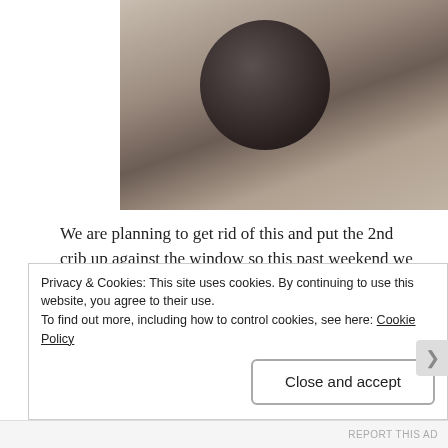[Figure (photo): A darkly-lit nursery room photo showing a large dark knitted sphere/pouf on the floor, with crib bars visible on the right side and neutral-toned walls and floor.]
We are planning to get rid of this and put the 2nd crib up against the window so this past weekend we worked on removing the books (hence why it's empty).  [Eventually, the diaper changing area will move to the dresser.]
I found these great space-saving DIY book ledges online via Classy Clutter and decided that we* would build these
Privacy & Cookies: This site uses cookies. By continuing to use this website, you agree to their use.
To find out more, including how to control cookies, see here: Cookie Policy
Close and accept